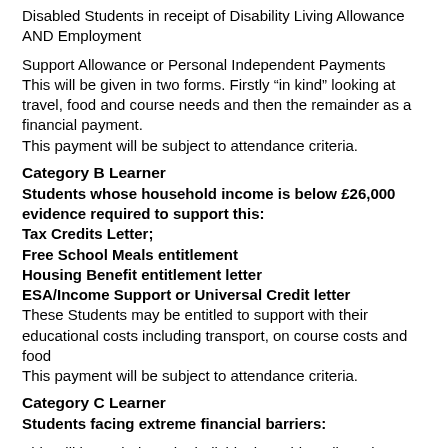Disabled Students in receipt of Disability Living Allowance AND Employment
Support Allowance or Personal Independent Payments This will be given in two forms. Firstly “in kind” looking at travel, food and course needs and then the remainder as a financial payment.
This payment will be subject to attendance criteria.
Category B Learner
Students whose household income is below £26,000 evidence required to support this:
Tax Credits Letter;
Free School Meals entitlement
Housing Benefit entitlement letter
ESA/Income Support or Universal Credit letter
These Students may be entitled to support with their educational costs including transport, on course costs and food
This payment will be subject to attendance criteria.
Category C Learner
Students facing extreme financial barriers:
This will be entirely at the individual providers discretion